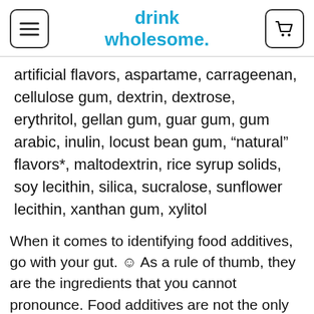drink wholesome.
artificial flavors, aspartame, carrageenan, cellulose gum, dextrin, dextrose, erythritol, gellan gum, guar gum, gum arabic, inulin, locust bean gum, “natural” flavors*, maltodextrin, rice syrup solids, soy lecithin, silica, sucralose, sunflower lecithin, xanthan gum, xylitol
When it comes to identifying food additives, go with your gut. ☺ As a rule of thumb, they are the ingredients that you cannot pronounce. Food additives are not the only thing to look out for when shopping protein powder.